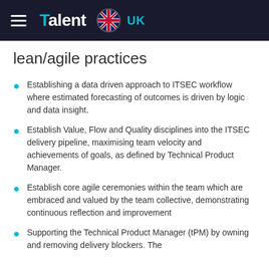Talent UK
lean/agile practices
Establishing a data driven approach to ITSEC workflow where estimated forecasting of outcomes is driven by logic and data insight.
Establish Value, Flow and Quality disciplines into the ITSEC delivery pipeline, maximising team velocity and achievements of goals, as defined by Technical Product Manager.
Establish core agile ceremonies within the team which are embraced and valued by the team collective, demonstrating continuous reflection and improvement
Supporting the Technical Product Manager (tPM) by owning and removing delivery blockers. The